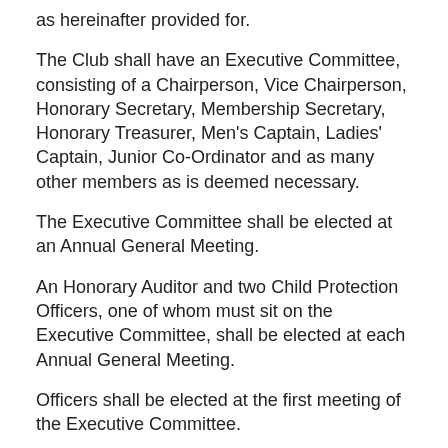as hereinafter provided for.
The Club shall have an Executive Committee, consisting of a Chairperson, Vice Chairperson, Honorary Secretary, Membership Secretary, Honorary Treasurer, Men's Captain, Ladies' Captain, Junior Co-Ordinator and as many other members as is deemed necessary.
The Executive Committee shall be elected at an Annual General Meeting.
An Honorary Auditor and two Child Protection Officers, one of whom must sit on the Executive Committee, shall be elected at each Annual General Meeting.
Officers shall be elected at the first meeting of the Executive Committee.
The position of Chairperson, Honorary Secretary and Honorary Treasurer may not be held by the same person for more than three consecutive years.
If a member of the Executive Committee does not attend